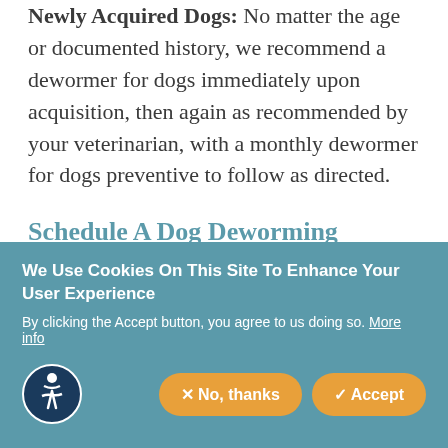Newly Acquired Dogs: No matter the age or documented history, we recommend a dewormer for dogs immediately upon acquisition, then again as recommended by your veterinarian, with a monthly dewormer for dogs preventive to follow as directed.
Schedule A Dog Deworming Appointment Today
Scheduling an appointment for worms in
We Use Cookies On This Site To Enhance Your User Experience
By clicking the Accept button, you agree to us doing so. More info